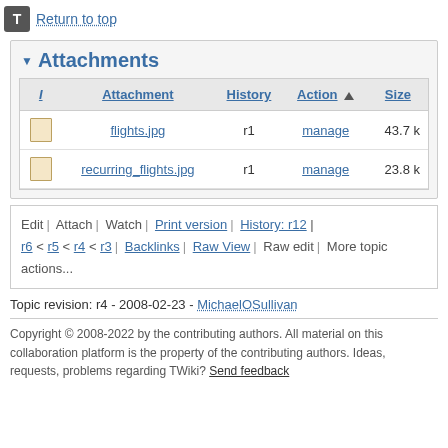Return to top
Attachments
| I | Attachment | History | Action | Size |
| --- | --- | --- | --- | --- |
| [icon] | flights.jpg | r1 | manage | 43.7 k |
| [icon] | recurring_flights.jpg | r1 | manage | 23.8 k |
Edit | Attach | Watch | Print version | History: r12 | r6 < r5 < r4 < r3 | Backlinks | Raw View | Raw edit | More topic actions...
Topic revision: r4 - 2008-02-23 - MichaelOSullivan
Copyright © 2008-2022 by the contributing authors. All material on this collaboration platform is the property of the contributing authors. Ideas, requests, problems regarding TWiki? Send feedback